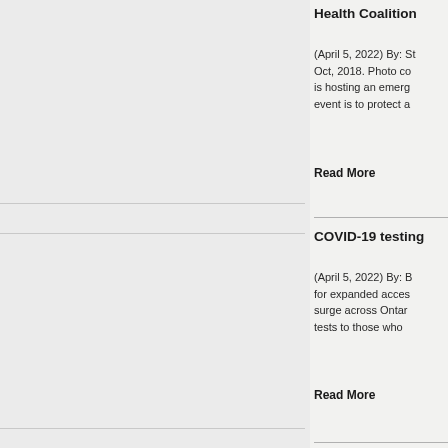Health Coalition
(April 5, 2022) By: St... Oct, 2018. Photo co... is hosting an emerg... event is to protect a...
Read More
COVID-19 testing
(April 5, 2022) By: B... for expanded acces... surge across Ontar... tests to those who...
Read More